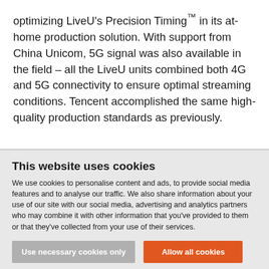optimizing LiveU's Precision Timing™ in its at-home production solution. With support from China Unicom, 5G signal was also available in the field – all the LiveU units combined both 4G and 5G connectivity to ensure optimal streaming conditions. Tencent accomplished the same high-quality production standards as previously.
This website uses cookies
We use cookies to personalise content and ads, to provide social media features and to analyse our traffic. We also share information about your use of our site with our social media, advertising and analytics partners who may combine it with other information that you've provided to them or that they've collected from your use of their services.
Use necessary cookies only | Allow all cookies
Show details